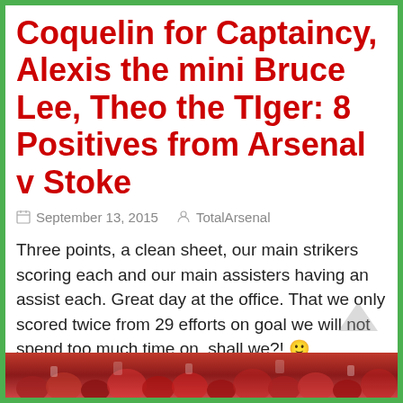Coquelin for Captaincy, Alexis the mini Bruce Lee, Theo the TIger: 8 Positives from Arsenal v Stoke
September 13, 2015   TotalArsenal
Three points, a clean sheet, our main strikers scoring each and our main assisters having an assist each. Great day at the office. That we only scored twice from 29 efforts on goal we will not spend too much time on, shall we?! 🙂
[Figure (photo): Crowd photo strip at the bottom of the page showing Arsenal fans/players in red]